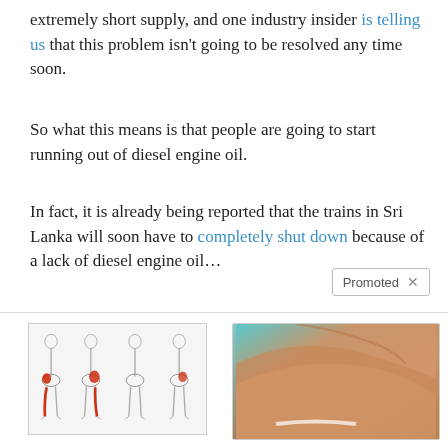extremely short supply, and one industry insider is telling us that this problem isn't going to be resolved any time soon.
So what this means is that people are going to start running out of diesel engine oil.
In fact, it is already being reported that the trains in Sri Lanka will soon have to completely shut down because of a lack of diesel engine oil…
[Figure (other): Advertisement: Illustrated diagram showing human figures with highlighted sciatic nerve pain areas in red. Ad for sciatic nerve pain product.]
Are You Struggling With Sciatic Nerve Pain? 🔥 1,010
[Figure (photo): Advertisement: Close-up photo of a person's midsection/abdomen from the side. Ad for fat burning product.]
A Teaspoon On An Empty Stomach Burns Fat Like Crazy! 🔥 10,068